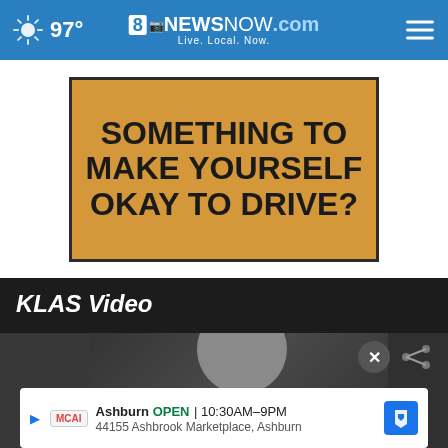97° | 8NewsNow.com | Live. Local. Now.
[Figure (infographic): Yellow/gold advertisement box with black border containing bold black uppercase text: SOMETHING TO MAKE YOURSELF OKAY TO DRIVE?]
KLAS Video
[Figure (screenshot): Dark video player area showing a partially visible person, with close (X) and share buttons overlay]
Ashburn OPEN | 10:30AM–9PM
44155 Ashbrook Marketplace, Ashburn